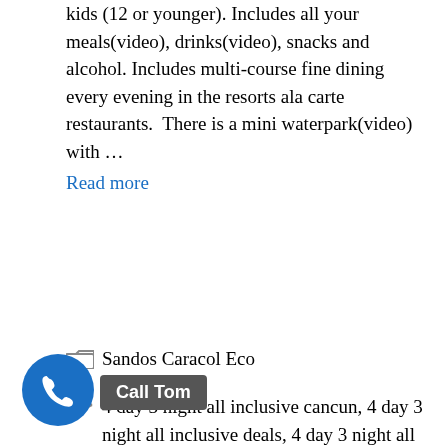kids (12 or younger). Includes all your meals(video), drinks(video), snacks and alcohol. Includes multi-course fine dining every evening in the resorts ala carte restaurants.  There is a mini waterpark(video) with … Read more
Sandos Caracol Eco
4 day 3 night all inclusive cancun, 4 day 3 night all inclusive deals, 4 day 3 night all inclusive getaways, 4 day 3 night all inclusive packages, 4 day 3 night all inclusive vacation packages, 5 day 4 night all inclusive cancun, 5 day 4 night all inclusive deals, 5 day 4 night all inclusive getaways, 5 day 4 night all inclusive packages, 5 day 4 night all inclusive vacation packages, all inclusive timeshare cancun, all inclusive timeshare vacation deals for starters